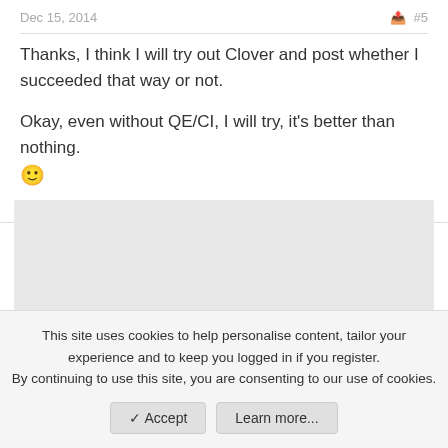Dec 15, 2014  #5
Thanks, I think I will try out Clover and post whether I succeeded that way or not.

Okay, even without QE/CI, I will try, it's better than nothing. 🙂
[Figure (other): Gray advertisement placeholder area]
This site uses cookies to help personalise content, tailor your experience and to keep you logged in if you register.
By continuing to use this site, you are consenting to our use of cookies.
✓ Accept   Learn more...